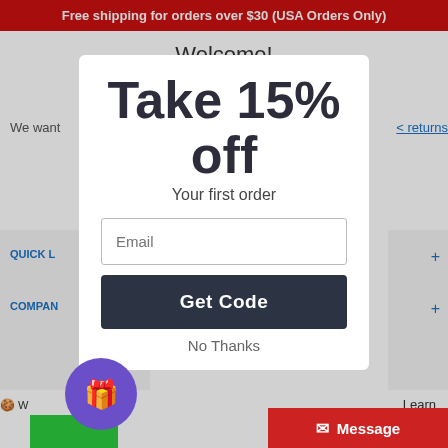Free shipping for orders over $30 (USA Orders Only)
Welcome!
We want
< returns
QUICK L
+
COMPAN
+
[Figure (screenshot): E-commerce website popup modal offering 15% off first order with email field and Get Code button]
No Thanks